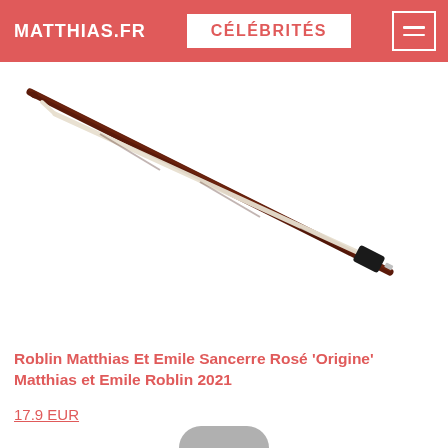MATTHIAS.FR | CÉLÉBRITÉS
[Figure (photo): A violin bow photographed diagonally against a white background. The bow has a dark reddish-brown wood stick and white horsehair, with a dark frog at the lower end.]
Roblin Matthias Et Emile Sancerre Rosé 'Origine' Matthias et Emile Roblin 2021
17.9 EUR